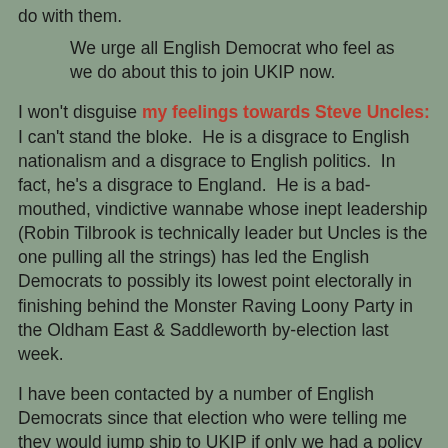do with them.
We urge all English Democrat who feel as we do about this to join UKIP now.
I won't disguise my feelings towards Steve Uncles: I can't stand the bloke.  He is a disgrace to English nationalism and a disgrace to English politics.  In fact, he's a disgrace to England.  He is a bad-mouthed, vindictive wannabe whose inept leadership (Robin Tilbrook is technically leader but Uncles is the one pulling all the strings) has led the English Democrats to possibly its lowest point electorally in finishing behind the Monster Raving Loony Party in the Oldham East & Saddleworth by-election last week.
I have been contacted by a number of English Democrats since that election who were telling me they would jump ship to UKIP if only we had a policy of supporting devolution.  Some of them will probably jump ship anyway now, unwilling to remain in a party that has courted Sinn Féin, employed the BNP's marketing people, had an electoral pact with the English First Party and has now admitted a former high-